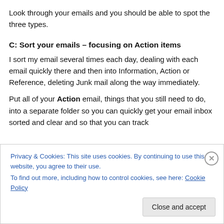Look through your emails and you should be able to spot the three types.
C: Sort your emails – focusing on Action items
I sort my email several times each day, dealing with each email quickly there and then into Information, Action or Reference, deleting Junk mail along the way immediately.
Put all of your Action email, things that you still need to do, into a separate folder so you can quickly get your email inbox sorted and clear and so that you can track
Privacy & Cookies: This site uses cookies. By continuing to use this website, you agree to their use.
To find out more, including how to control cookies, see here: Cookie Policy